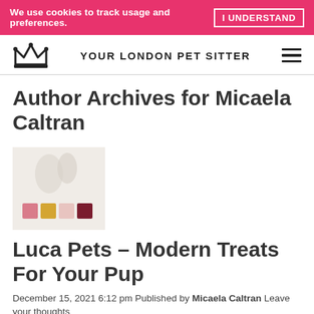We use cookies to track usage and preferences. I UNDERSTAND
YOUR LONDON PET SITTER
Author Archives for Micaela Caltran
[Figure (photo): Thumbnail image showing dog paws and four colored treat squares in pink, yellow, light pink, and dark red]
Luca Pets – Modern Treats For Your Pup
December 15, 2021 6:12 pm Published by Micaela Caltran Leave your thoughts